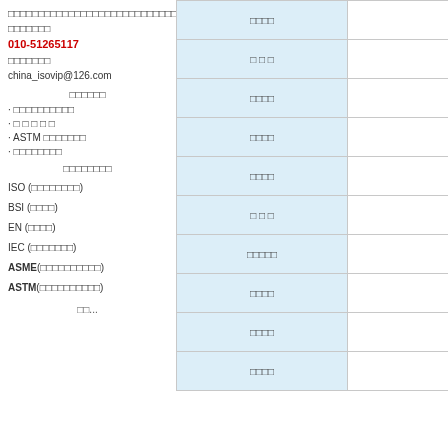□□□□□□□□□□□□□□□□□□□□□□□□□□□□□□
□□□□□□□
010-51265117
□□□□□□□
china_isovip@126.com
□□□□□□
· □□□□□□□□□□
· □ □ □ □ □
· ASTM □□□□□□□
· □□□□□□□□
□□□□□□□□
ISO (□□□□□□□□)
BSI (□□□□)
EN (□□□□)
IEC (□□□□□□□)
ASME(□□□□□□□□□□)
ASTM(□□□□□□□□□□)
□□...
| □□□□ |  |
| --- | --- |
| □□□□ |  |
| □ □ □ |  |
| □□□□ |  |
| □□□□ |  |
| □□□□ |  |
| □ □ □ |  |
| □□□□□ |  |
| □□□□ |  |
| □□□□ |  |
| □□□□ |  |